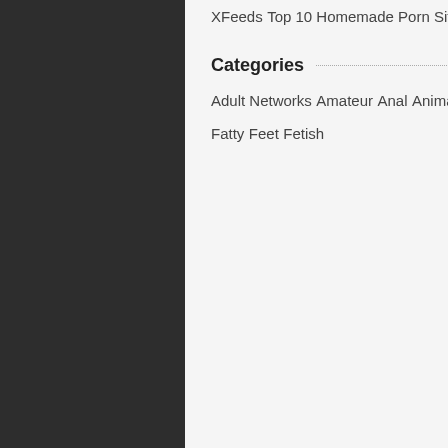XFeeds
Top 10 Homemade Porn Sites
WouJ
ScrewMyWifeClub
Categories
Adult Networks
Amateur
Anal
Animated
Asian
Big Tits
Cumshot
Ebony
European Porn
Fatty
Feet
Fetish